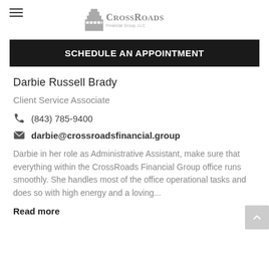CrossRoads Financial Group, LLC
SCHEDULE AN APPOINTMENT
Darbie Russell Brady
Client Service Associate
(843) 785-9400
darbie@crossroadsfinancial.group
Darbie in her role as Administrative Assistant, make sure that everything within the CrossRoads Financial Group office runs smoothly. She handles most of the office operational tasks and does so with high energy and a loving...
Read more